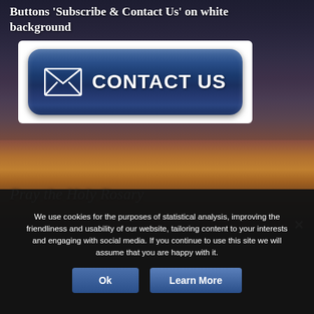Buttons 'Subscribe & Contact Us' on white background
[Figure (screenshot): A blue rounded-rectangle 'Contact Us' button with an envelope icon on the left and white bold text 'CONTACT US', displayed on a white background panel against a dark sunset sky background.]
Pray the Holy Rosary
We use cookies for the purposes of statistical analysis, improving the friendliness and usability of our website, tailoring content to your interests and engaging with social media. If you continue to use this site we will assume that you are happy with it.
Ok
Learn More